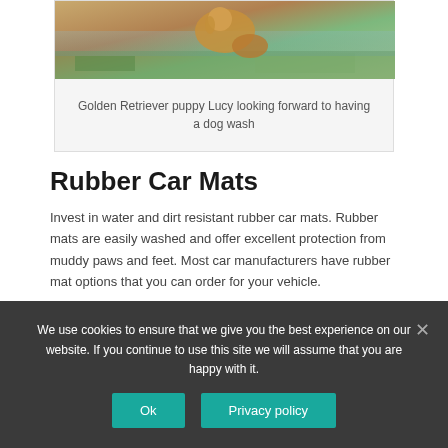[Figure (photo): Golden Retriever puppy near water/grass, partial view at top of page]
Golden Retriever puppy Lucy looking forward to having a dog wash
Rubber Car Mats
Invest in water and dirt resistant rubber car mats. Rubber mats are easily washed and offer excellent protection from muddy paws and feet. Most car manufacturers have rubber mat options that you can order for your vehicle.
Tip: Wet carpet in cars takes forever to dry and can
We use cookies to ensure that we give you the best experience on our website. If you continue to use this site we will assume that you are happy with it.